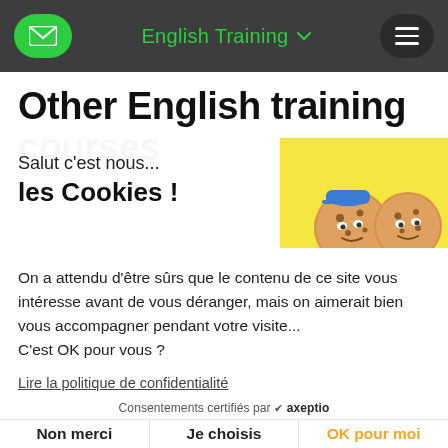English Training
Other English training courses
Salut c'est nous... les Cookies !
On a attendu d'être sûrs que le contenu de ce site vous intéresse avant de vous déranger, mais on aimerait bien vous accompagner pendant votre visite... C'est OK pour vous ?
Lire la politique de confidentialité
Consentements certifiés par ✔ axeptio
Non merci  Je choisis  OK pour moi